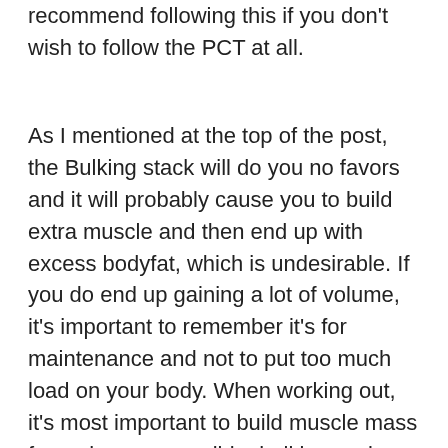recommend following this if you don't wish to follow the PCT at all.
As I mentioned at the top of the post, the Bulking stack will do you no favors and it will probably cause you to build extra muscle and then end up with excess bodyfat, which is undesirable. If you do end up gaining a lot of volume, it's important to remember it's for maintenance and not to put too much load on your body. When working out, it's most important to build muscle mass for as long as possible, bulking cycle pack. So if you're not going to put loads on your body in the gym, it's best to limit the volume that you're doing to around 30-40 reps per set, best bulking tablets. If you can, work the volume out in stages. I recommend doing 6 sets per bodypart, best bulking injectable steroid stack. Then